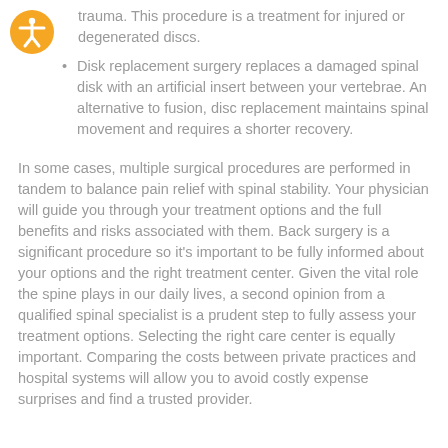trauma. This procedure is a treatment for injured or degenerated discs.
Disk replacement surgery replaces a damaged spinal disk with an artificial insert between your vertebrae. An alternative to fusion, disc replacement maintains spinal movement and requires a shorter recovery.
In some cases, multiple surgical procedures are performed in tandem to balance pain relief with spinal stability. Your physician will guide you through your treatment options and the full benefits and risks associated with them. Back surgery is a significant procedure so it's important to be fully informed about your options and the right treatment center. Given the vital role the spine plays in our daily lives, a second opinion from a qualified spinal specialist is a prudent step to fully assess your treatment options. Selecting the right care center is equally important. Comparing the costs between private practices and hospital systems will allow you to avoid costly expense surprises and find a trusted provider.